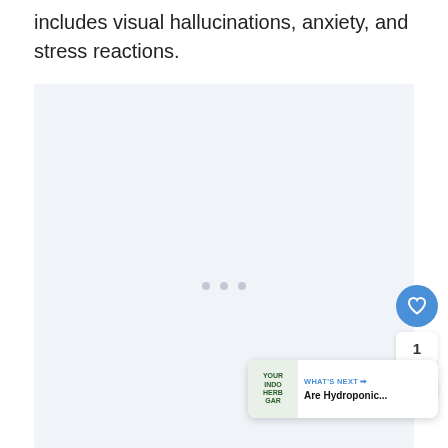includes visual hallucinations, anxiety, and stress reactions.
[Figure (other): Large light-blue/grey placeholder image area with three small dots at the bottom center indicating an image carousel or loading state. Interactive UI elements visible: a blue heart/like button, a share button, a count badge showing '1', and a 'What's Next' card in the bottom right.]